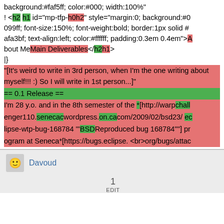background:#faf5ff; color:#000; width:100%" ! <h2 h1 id="mp-tfp-h0h2" style="margin:0; background:#0099ff; font-size:150%; font-weight:bold; border:1px solid #afa3bf; text-align:left; color:#ffffff; padding:0.3em 0.4em">About MeMain Deliverables</h2h1> |} "[It's weird to write in 3rd person, when I'm the one writing about myself!!! :) So I will write in 1st person...] == 0.1 Release == I'm 28 y.o. and in the 8th semester of the *[http://warpchallenger110.senecacwordpress.on.cacom/2009/02/bsd23/ eclipse-wtp-bug-168784 '''BSDReproduced bug 168784''] program at Seneca*[https://bugs.eclipse. <br>org/bugs/attac
Davoud
1
EDIT